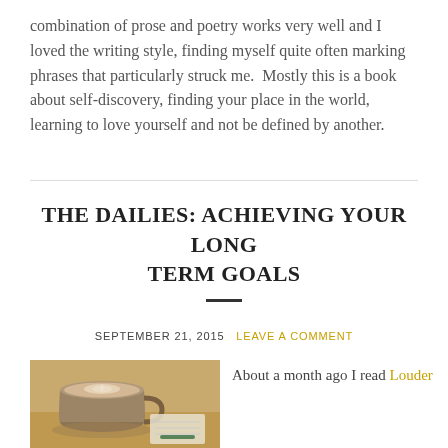combination of prose and poetry works very well and I loved the writing style, finding myself quite often marking phrases that particularly struck me.  Mostly this is a book about self-discovery, finding your place in the world, learning to love yourself and not be defined by another.
THE DAILIES: ACHIEVING YOUR LONG TERM GOALS
SEPTEMBER 21, 2015   LEAVE A COMMENT
[Figure (photo): A photo of a coffee/latte in a ceramic mug with latte art, placed next to a notebook with a pen, on a wooden surface.]
About a month ago I read Louder